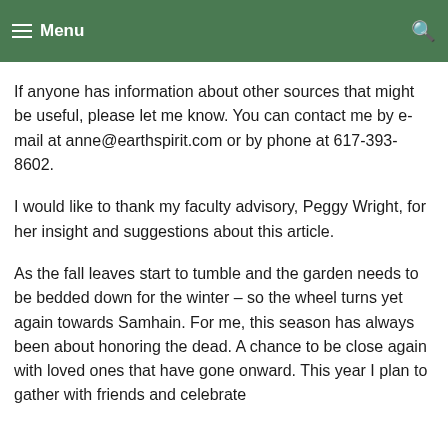Menu
foods? What sort of decorations do you have on your altar? Why is it important to honor the dead and why do you choose to do it in the way you do?
If anyone has information about other sources that might be useful, please let me know. You can contact me by e-mail at anne@earthspirit.com or by phone at 617-393-8602.
I would like to thank my faculty advisory, Peggy Wright, for her insight and suggestions about this article.
As the fall leaves start to tumble and the garden needs to be bedded down for the winter – so the wheel turns yet again towards Samhain. For me, this season has always been about honoring the dead. A chance to be close again with loved ones that have gone onward. This year I plan to gather with friends and celebrate